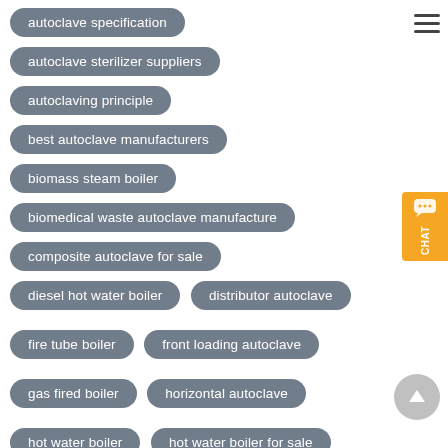autoclave specification
autoclave sterilizer suppliers
autoclaving principle
best autoclave manufacturers
biomass steam boiler
biomedical waste autoclave manufacture
composite autoclave for sale
diesel hot water boiler
distributor autoclave
fire tube boiler
front loading autoclave
gas fired boiler
horizontal autoclave
hot water boiler
hot water boiler for sale
hot water boiler manufacturer